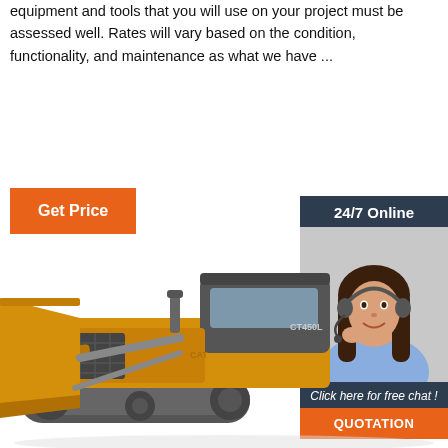equipment and tools that you will use on your project must be assessed well. Rates will vary based on the condition, functionality, and maintenance as what we have ...
[Figure (illustration): Orange 'Get Price' button]
[Figure (illustration): Sidebar with '24/7 Online' header, customer service representative with headset, 'Click here for free chat!' text, and orange 'QUOTATION' button]
[Figure (illustration): Yellow construction bulldozer (CAT-style) at bottom of page]